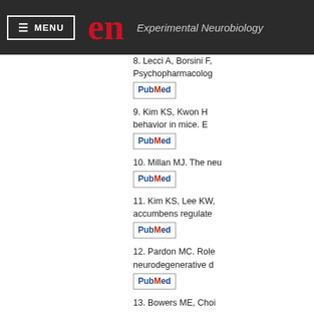MENU | en Experimental Neurobiology
8. Lecci A, Borsini F, Psychopharmacolog... [PubMed]
9. Kim KS, Kwon H, behavior in mice. E... [PubMed]
10. Millan MJ. The neu... [PubMed]
11. Kim KS, Lee KW, accumbens regulate... [PubMed]
12. Pardon MC. Role neurodegenerative d... [PubMed]
13. Bowers ME, Choi...